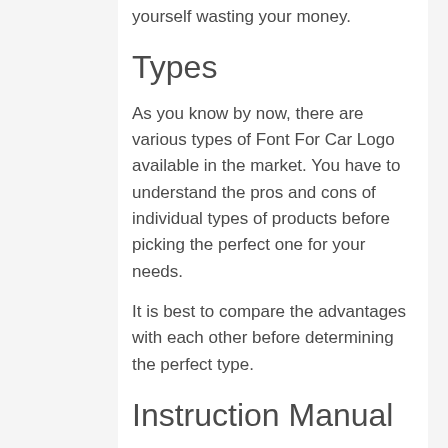yourself wasting your money.
Types
As you know by now, there are various types of Font For Car Logo available in the market. You have to understand the pros and cons of individual types of products before picking the perfect one for your needs.
It is best to compare the advantages with each other before determining the perfect type.
Instruction Manual